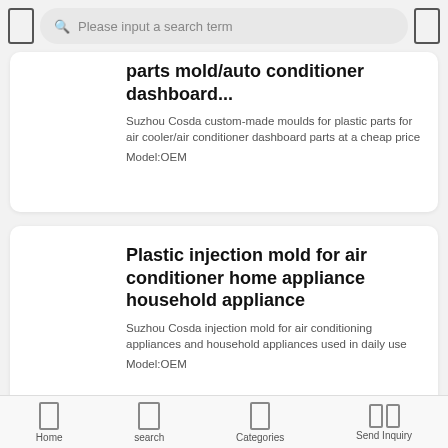Please input a search term
parts mold/auto conditioner dashboard...
Suzhou Cosda custom-made moulds for plastic parts for air cooler/air conditioner dashboard parts at a cheap price
Model:OEM
Plastic injection mold for air conditioner home appliance household appliance
Suzhou Cosda injection mold for air conditioning appliances and household appliances used in daily use
Model:OEM
High quality kids chair plastic injection mould for daily necessities
Suzhou Cosda factory for daily use of high quality children's chair plastic injection mold
Home   search   Categories   Send Inquiry